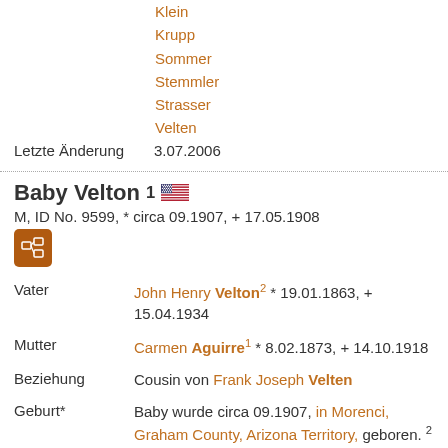Klein
Krupp
Sommer
Stemmler
Strasser
Velten
Letzte Änderung   3.07.2006
Baby Velton¹  [US flag]
M, ID No. 9599, * circa 09.1907, + 17.05.1908
Vater   John Henry Velton² * 19.01.1863, + 15.04.1934
Mutter   Carmen Aguirre¹ * 8.02.1873, + 14.10.1918
Beziehung   Cousin von Frank Joseph Velten
Geburt*   Baby wurde circa 09.1907, in Morenci, Graham County, Arizona Territory, geboren. 2
Er war die Sohn von John Henry Velton